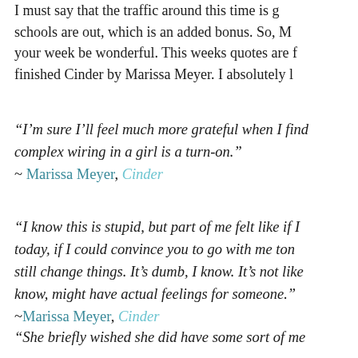I must say that the traffic around this time is g... schools are out, which is an added bonus. So, M... your week be wonderful. This weeks quotes are f... finished Cinder by Marissa Meyer. I absolutely l...
"I'm sure I'll feel much more grateful when I find ... complex wiring in a girl is a turn-on." ~ Marissa Meyer, Cinder
"I know this is stupid, but part of me felt like if I... today, if I could convince you to go with me ton... still change things. It's dumb, I know. It's not like... know, might have actual feelings for someone." ~Marissa Meyer, Cinder
"She briefly wished she did have some sort of me...